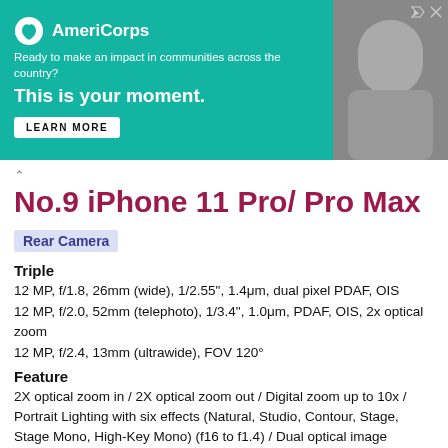[Figure (other): AmeriCorps advertisement banner with teal background, logo, tagline 'Ready to make an impact in communities across the country? This is your moment.', LEARN MORE button, and a photo of a person on the right.]
No.9 iPhone 11 Pro/ Pro Max
Rear Camera
Triple
12 MP, f/1.8, 26mm (wide), 1/2.55", 1.4μm, dual pixel PDAF, OIS
12 MP, f/2.0, 52mm (telephoto), 1/3.4", 1.0μm, PDAF, OIS, 2x optical zoom
12 MP, f/2.4, 13mm (ultrawide), FOV 120°
Feature
2X optical zoom in / 2X optical zoom out / Digital zoom up to 10x / Portrait Lighting with six effects (Natural, Studio, Contour, Stage, Stage Mono, High-Key Mono) (f16 to f1.4) / Dual optical image stabilization (Wide and Telephoto) / Five-element lens